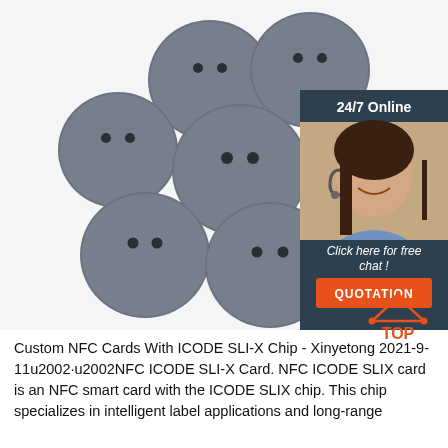[Figure (photo): Multiple gray circular NFC disc tags/buttons with two holes, arranged on a white background. In the upper right corner is an advertisement panel showing a woman with a headset and text '24/7 Online', 'Click here for free chat!', and an orange 'QUOTATION' button.]
[Figure (logo): TOP logo with orange house/triangle icon and dots]
Custom NFC Cards With ICODE SLI-X Chip - Xinyetong 2021-9-11u2002·u2002NFC ICODE SLI-X Card. NFC ICODE SLIX card is an NFC smart card with the ICODE SLIX chip. This chip specializes in intelligent label applications and long-range